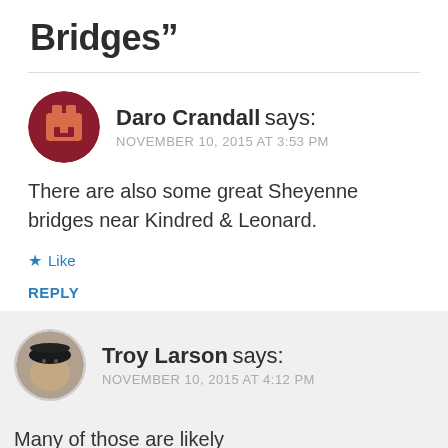Bridges”
Daro Crandall says:
NOVEMBER 10, 2015 AT 3:53 PM
There are also some great Sheyenne bridges near Kindred & Leonard.
★ Like
REPLY
Troy Larson says:
NOVEMBER 10, 2015 AT 4:12 PM
Many of those are likely